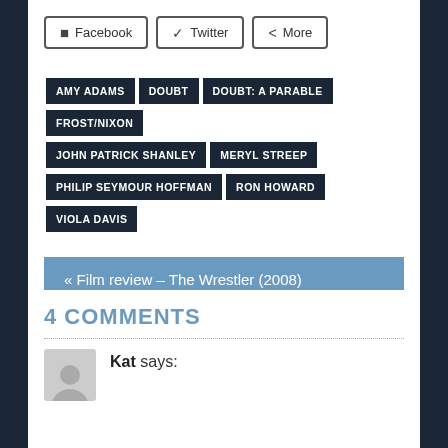Facebook
Twitter
More
AMY ADAMS
DOUBT
DOUBT: A PARABLE
FROST/NIXON
JOHN PATRICK SHANLEY
MERYL STREEP
PHILIP SEYMOUR HOFFMAN
RON HOWARD
VIOLA DAVIS
« Film review – The Wrestler (2008)
Film review – Bride Wars (2009) »
4 COMMENTS
Kat says: